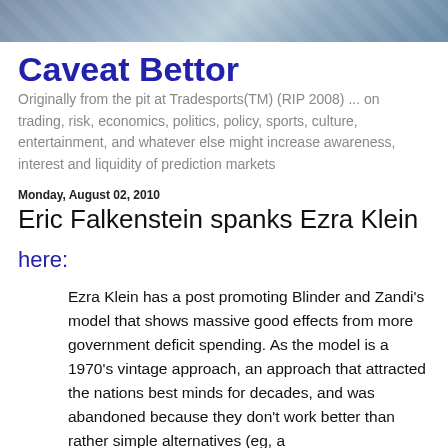[Figure (other): Blog header banner with blue-gray gradient background suggesting a financial chart pattern]
Caveat Bettor
Originally from the pit at Tradesports(TM) (RIP 2008) ... on trading, risk, economics, politics, policy, sports, culture, entertainment, and whatever else might increase awareness, interest and liquidity of prediction markets
Monday, August 02, 2010
Eric Falkenstein spanks Ezra Klein
here:
Ezra Klein has a post promoting Blinder and Zandi's model that shows massive good effects from more government deficit spending. As the model is a 1970's vintage approach, an approach that attracted the nations best minds for decades, and was abandoned because they don't work better than rather simple alternatives (eg, a